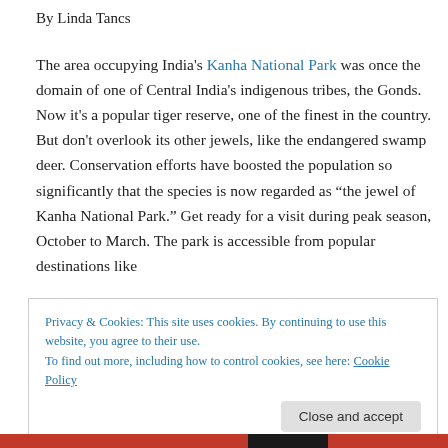By Linda Tancs
The area occupying India's Kanha National Park was once the domain of one of Central India's indigenous tribes, the Gonds. Now it's a popular tiger reserve, one of the finest in the country. But don't overlook its other jewels, like the endangered swamp deer. Conservation efforts have boosted the population so significantly that the species is now regarded as “the jewel of Kanha National Park.” Get ready for a visit during peak season, October to March. The park is accessible from popular destinations like
Privacy & Cookies: This site uses cookies. By continuing to use this website, you agree to their use.
To find out more, including how to control cookies, see here: Cookie Policy
Close and accept